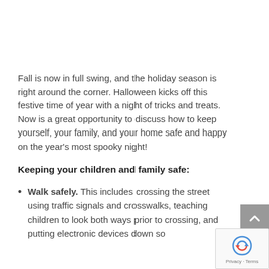Fall is now in full swing, and the holiday season is right around the corner. Halloween kicks off this festive time of year with a night of tricks and treats. Now is a great opportunity to discuss how to keep yourself, your family, and your home safe and happy on the year's most spooky night!
Keeping your children and family safe:
Walk safely. This includes crossing the street using traffic signals and crosswalks, teaching children to look both ways prior to crossing, and putting electronic devices down so